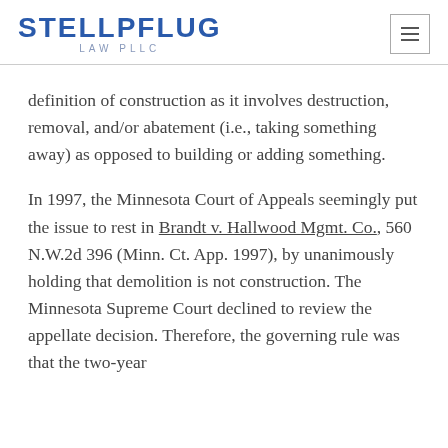STELLPFLUG LAW PLLC
definition of construction as it involves destruction, removal, and/or abatement (i.e., taking something away) as opposed to building or adding something.
In 1997, the Minnesota Court of Appeals seemingly put the issue to rest in Brandt v. Hallwood Mgmt. Co., 560 N.W.2d 396 (Minn. Ct. App. 1997), by unanimously holding that demolition is not construction. The Minnesota Supreme Court declined to review the appellate decision. Therefore, the governing rule was that the two-year